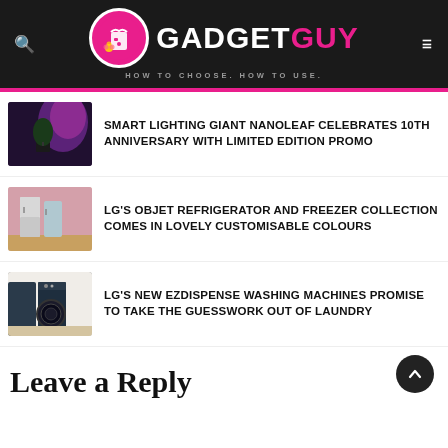GADGET GUY — HOW TO CHOOSE. HOW TO USE.
SMART LIGHTING GIANT NANOLEAF CELEBRATES 10TH ANNIVERSARY WITH LIMITED EDITION PROMO
LG'S OBJET REFRIGERATOR AND FREEZER COLLECTION COMES IN LOVELY CUSTOMISABLE COLOURS
LG'S NEW EZDISPENSE WASHING MACHINES PROMISE TO TAKE THE GUESSWORK OUT OF LAUNDRY
Leave a Reply